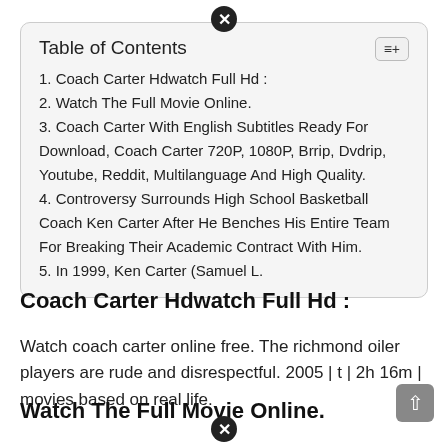| Table of Contents |
| --- |
| 1. Coach Carter Hdwatch Full Hd : |
| 2. Watch The Full Movie Online. |
| 3. Coach Carter With English Subtitles Ready For Download, Coach Carter 720P, 1080P, Brrip, Dvdrip, Youtube, Reddit, Multilanguage And High Quality. |
| 4. Controversy Surrounds High School Basketball Coach Ken Carter After He Benches His Entire Team For Breaking Their Academic Contract With Him. |
| 5. In 1999, Ken Carter (Samuel L. |
Coach Carter Hdwatch Full Hd :
Watch coach carter online free. The richmond oiler players are rude and disrespectful. 2005 | t | 2h 16m | movies based on real life.
Watch The Full Movie Online.